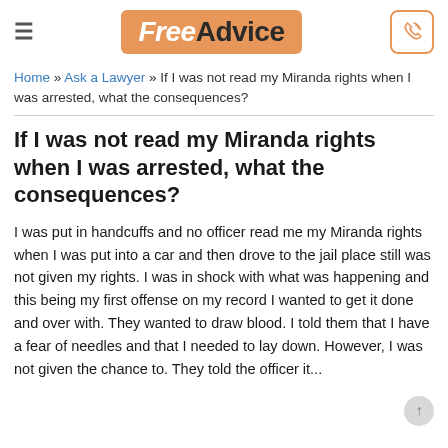FreeAdvice
Home » Ask a Lawyer » If I was not read my Miranda rights when I was arrested, what the consequences?
If I was not read my Miranda rights when I was arrested, what the consequences?
I was put in handcuffs and no officer read me my Miranda rights when I was put into a car and then drove to the jail place still was not given my rights. I was in shock with what was happening and this being my first offense on my record I wanted to get it done and over with. They wanted to draw blood. I told them that I have a fear of needles and that I needed to lay down. However, I was not given the chance to. They told the officer it...